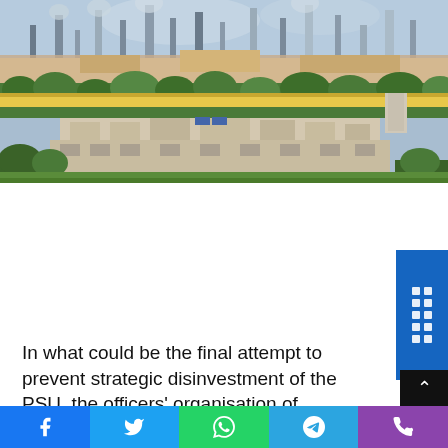[Figure (photo): Aerial/elevated view of Visakhapatnam Steel Plant (Rashtriya Ispat Nigam Limited) showing large industrial complex with smokestacks and chimneys in the background, a highway bridge/flyover in the middle ground, and a multi-story administrative building complex surrounded by trees in the foreground.]
In what could be the final attempt to prevent strategic disinvestment of the PSU, the officers' organisation of Rashtriya Ispat Nigam Limited (RINL), the corporate entity of Visakhapatnam Steel Plant has sought its merger with Steel Authority of India Limited (SAIL).